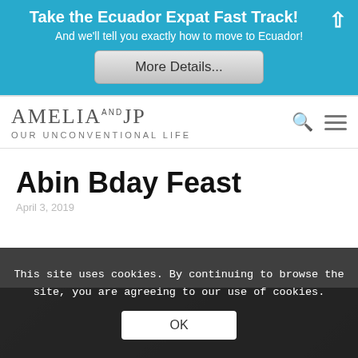Take the Ecuador Expat Fast Track!
And we'll tell you exactly how to move to Ecuador!
More Details...
AMELIA AND JP OUR UNCONVENTIONAL LIFE
Abin Bday Feast
April 3, 2019
This site uses cookies. By continuing to browse the site, you are agreeing to our use of cookies.
OK